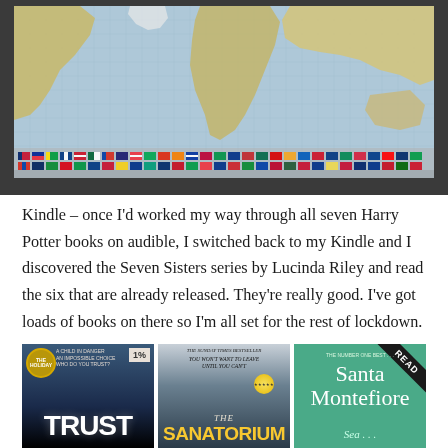[Figure (photo): A jigsaw puzzle of a world map with country flags at the bottom, partially completed, photographed on a table.]
Kindle – once I'd worked my way through all seven Harry Potter books on audible, I switched back to my Kindle and I discovered the Seven Sisters series by Lucinda Riley and read the six that are already released. They're really good. I've got loads of books on there so I'm all set for the rest of lockdown.
[Figure (photo): Three book covers shown side by side at the bottom: 'Trust' by The Holiday (1% progress badge), 'The Sanatorium' (Sunday Times bestseller), and a Santa Montefiore book with READ banner.]